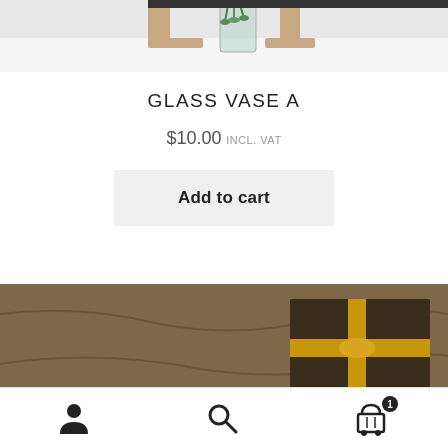[Figure (photo): Partial top view of a person's hands near a glass vase with green plant on a white table]
GLASS VASE A
$10.00 INCL. VAT
Add to cart
[Figure (photo): Brown fabric or cushion with a dark brown gift box tied with a golden ribbon and purple dried flowers in the foreground]
User icon, Search icon, Cart icon with badge 1